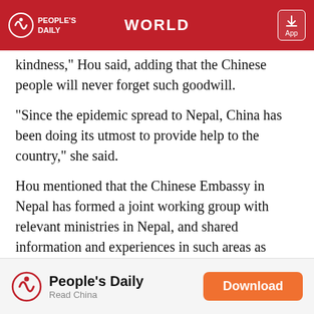WORLD
kindness," Hou said, adding that the Chinese people will never forget such goodwill.
"Since the epidemic spread to Nepal, China has been doing its utmost to provide help to the country," she said.
Hou mentioned that the Chinese Embassy in Nepal has formed a joint working group with relevant ministries in Nepal, and shared information and experiences in such areas as epidemic prevention and control, clinical treatment, and customs quarantine, by providing documents and conducting video calls.
Going forward, she emphasized that China will provide material assistance to Nepal with both sides also in
People's Daily | Read China | Download